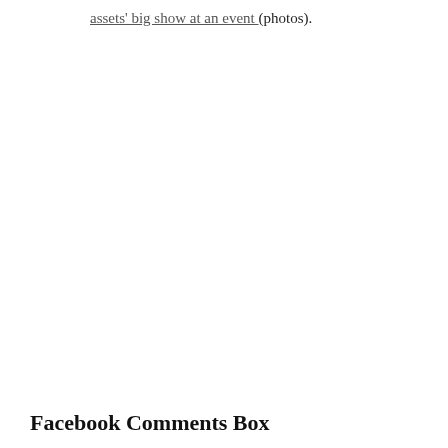assets' big show at an event (photos).
Facebook Comments Box